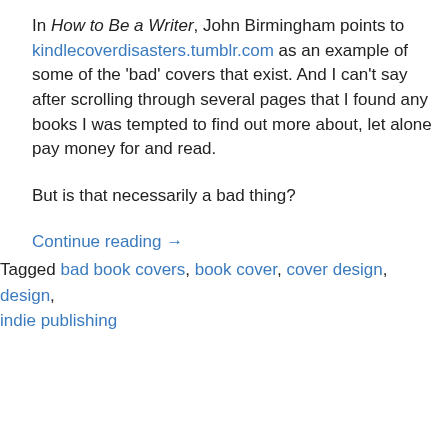In How to Be a Writer, John Birmingham points to kindlecoverdisasters.tumblr.com as an example of some of the 'bad' covers that exist. And I can't say after scrolling through several pages that I found any books I was tempted to find out more about, let alone pay money for and read.
But is that necessarily a bad thing?
Continue reading →
Tagged bad book covers, book cover, cover design, design, indie publishing